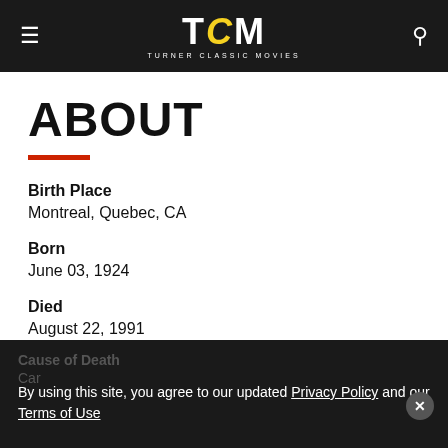TCM TURNER CLASSIC MOVIES
ABOUT
Birth Place
Montreal, Quebec, CA
Born
June 03, 1924
Died
August 22, 1991
Cause of Death
Car
By using this site, you agree to our updated Privacy Policy and our Terms of Use